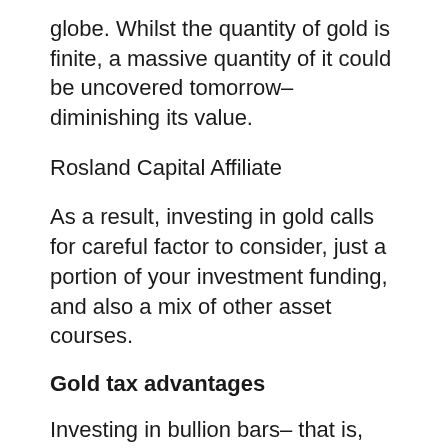globe. Whilst the quantity of gold is finite, a massive quantity of it could be uncovered tomorrow– diminishing its value.
Rosland Capital Affiliate
As a result, investing in gold calls for careful factor to consider, just a portion of your investment funding, and also a mix of other asset courses.
Gold tax advantages
Investing in bullion bars– that is, gold before coining as well as is valued by weight– is tax and stamp duty-free in the UK and the EU. Exhausting laws range countries and may be much less helpful in other countries like the